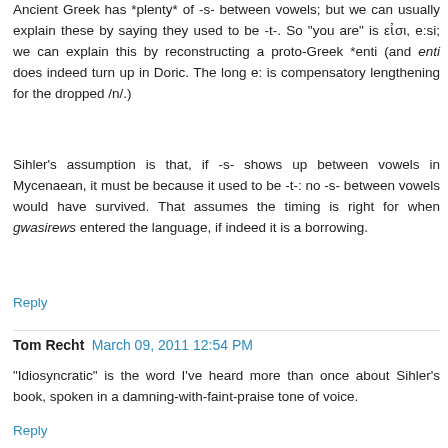Ancient Greek has *plenty* of -s- between vowels; but we can usually explain these by saying they used to be -t-. So "you are" is εἰσι, e:si; we can explain this by reconstructing a proto-Greek *enti (and enti does indeed turn up in Doric. The long e: is compensatory lengthening for the dropped /n/.)
Sihler's assumption is that, if -s- shows up between vowels in Mycenaean, it must be because it used to be -t-: no -s- between vowels would have survived. That assumes the timing is right for when gwasirews entered the language, if indeed it is a borrowing.
Reply
Tom Recht  March 09, 2011 12:54 PM
"Idiosyncratic" is the word I've heard more than once about Sihler's book, spoken in a damning-with-faint-praise tone of voice.
Reply